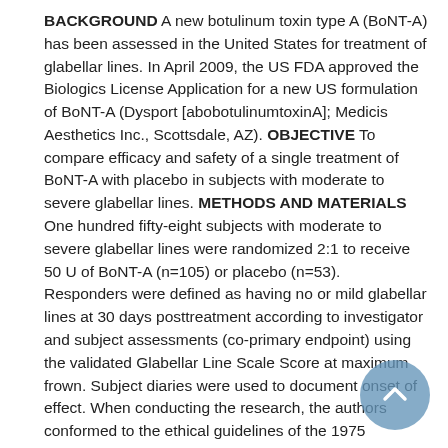BACKGROUND A new botulinum toxin type A (BoNT-A) has been assessed in the United States for treatment of glabellar lines. In April 2009, the US FDA approved the Biologics License Application for a new US formulation of BoNT-A (Dysport [abobotulinumtoxinA]; Medicis Aesthetics Inc., Scottsdale, AZ). OBJECTIVE To compare efficacy and safety of a single treatment of BoNT-A with placebo in subjects with moderate to severe glabellar lines. METHODS AND MATERIALS One hundred fifty-eight subjects with moderate to severe glabellar lines were randomized 2:1 to receive 50 U of BoNT-A (n=105) or placebo (n=53). Responders were defined as having no or mild glabellar lines at 30 days posttreatment according to investigator and subject assessments (co-primary endpoint) using the validated Glabellar Line Scale Score at maximum frown. Subject diaries were used to document onset of effect. When conducting the research, the authors conformed to the ethical guidelines of the 1975 Declaration of Helsinki. RESULTS According to investigator assessment, the proportion of responders to BoNT-A at Day 30 was 89.5%, versus 7.5% for placebo (p<.001); according to subject assessment, the proportion of responders was 75.7%, versus 9.8% for placebo (p<.001). CONCLUSION A single treatment with BoNT-A (50